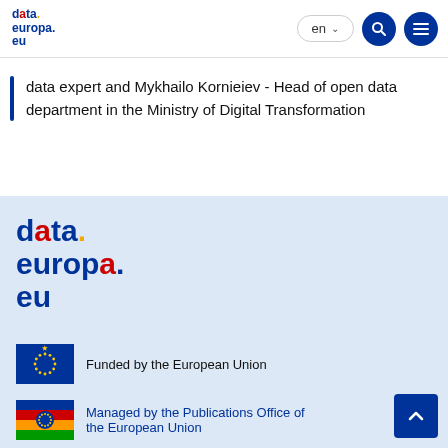data.europa.eu — en — search — menu
data expert and Mykhailo Kornieiev - Head of open data department in the Ministry of Digital Transformation
[Figure (logo): data.europa.eu logo large in footer area on light blue background]
[Figure (illustration): EU flag — blue rectangle with circle of 12 yellow stars — next to text Funded by the European Union]
Funded by the European Union
[Figure (illustration): EU publications office colorful flag logo — next to text Managed by the Publications Office of the European Union]
Managed by the Publications Office of the European Union